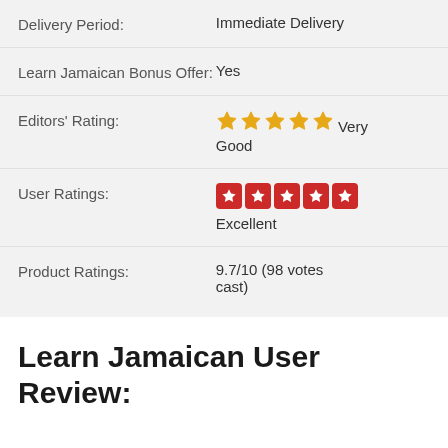| Delivery Period: | Immediate Delivery |
| Learn Jamaican Bonus Offer: | Yes |
| Editors' Rating: | ★★★★★ Very Good |
| User Ratings: | ★★★★★ Excellent |
| Product Ratings: | 9.7/10 (98 votes cast) |
Learn Jamaican User Review: